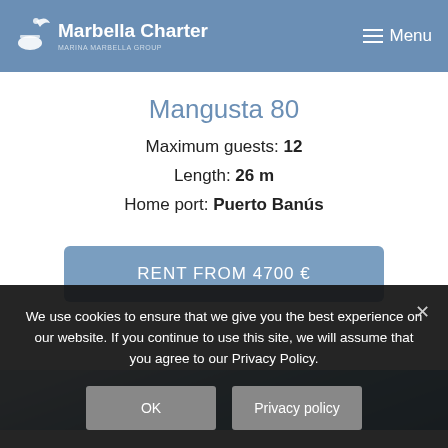Marbella Charter — MARINA MARBELLA GROUP | Menu
Mangusta 80
Maximum guests: 12
Length: 26 m
Home port: Puerto Banús
RENT FROM 4700 €
[Figure (photo): Partial view of a boat against a blue sky with clouds]
We use cookies to ensure that we give you the best experience on our website. If you continue to use this site, we will assume that you agree to our Privacy Policy.
OK | Privacy policy